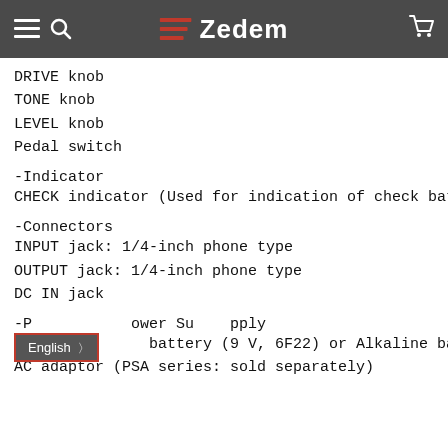Zedem
DRIVE knob
TONE knob
LEVEL knob
Pedal switch
-Indicator
CHECK indicator (Used for indication of check bat
-Connectors
INPUT jack: 1/4-inch phone type
OUTPUT jack: 1/4-inch phone type
DC IN jack
-Power Supply
Carbon battery (9 V, 6F22) or Alkaline batte
AC adaptor (PSA series: sold separately)